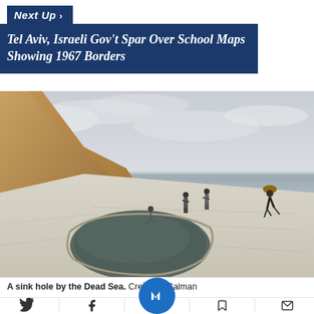Next Up >
Tel Aviv, Israeli Gov't Spar Over School Maps Showing 1967 Borders
[Figure (photo): A sinkhole by the Dead Sea shore. Several people are standing and exploring the rocky salt formations. A dark pool of water fills a sinkhole in the foreground. Sandy cliffs are visible on the left and calm water of the Dead Sea is in the background under an overcast sky.]
A sink hole by the Dead Sea. Credit: Salman
Social sharing icons: Twitter, Facebook, Newsweek, Bookmark, Email